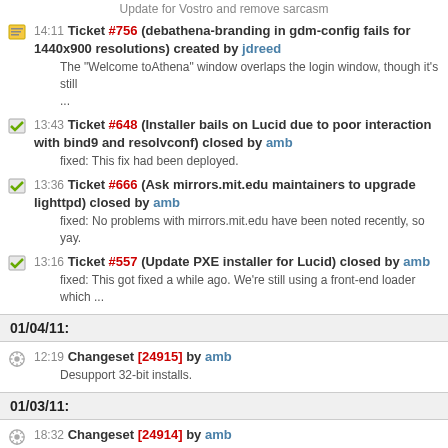Update for Vostro and remove sarcasm
14:11 Ticket #756 (debathena-branding in gdm-config fails for 1440x900 resolutions) created by jdreed
The "Welcome toAthena" window overlaps the login window, though it's still ...
13:43 Ticket #648 (Installer bails on Lucid due to poor interaction with bind9 and resolvconf) closed by amb
fixed: This fix had been deployed.
13:36 Ticket #666 (Ask mirrors.mit.edu maintainers to upgrade lighttpd) closed by amb
fixed: No problems with mirrors.mit.edu have been noted recently, so yay.
13:16 Ticket #557 (Update PXE installer for Lucid) closed by amb
fixed: This got fixed a while ago. We're still using a front-end loader which ...
01/04/11:
12:19 Changeset [24915] by amb
Desupport 32-bit installs.
01/03/11:
18:32 Changeset [24914] by amb
Detect and report the install architecture before the "press return to continue" prompt.